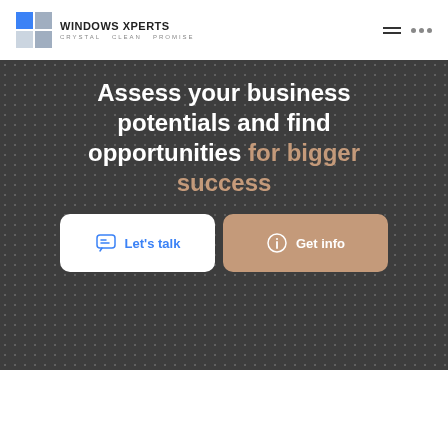[Figure (logo): Windows Xperts logo with blue and grey grid squares and text 'WINDOWS XPERTS / CRYSTAL CLEAN PROMISE']
Assess your business potentials and find opportunities for bigger success
Let's talk
Get info